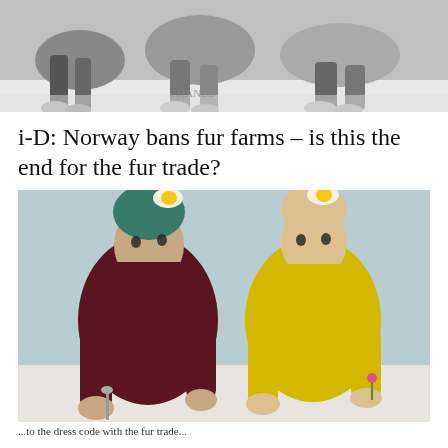[Figure (photo): Black and white photo showing several people seated/reclining, cropped to show feet and lower legs against a white background.]
i-D: Norway bans fur farms – is this the end for the fur trade?
[Figure (photo): Fashion photograph of two people seated at a white table against a pale blue-grey background. Left figure wears a dark burgundy chunky knit turtleneck sweater pulled over their face with teal-dyed hair and egg-shaped hat ornament, holding a spoon. Right figure wears a bright yellow turtleneck pulled over face, is bald or wearing a bald cap, with a fried-egg hat ornament, and holds a small flower.]
...to the dress code with the fur trade...